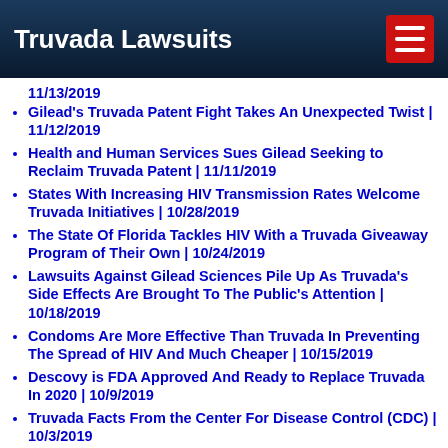Truvada Lawsuits
11/13/2019
Gilead's Truvada Patent Fight Takes An Unexpected Twist | 11/12/2019
Health and Human Services Sues Gilead Seeking to Reclaim Truvada Patent | 11/11/2019
States With Increasing HIV Transmission Rates Welcome Truvada Initiatives | 10/28/2019
The State Of Florida Tackles HIV With a Truvada Giveaway Program of Their Own | 10/24/2019
Lawsuits Against Gilead Sciences Pile Up As Truvada's Side Effects Are Brought To The Public's Attention | 10/18/2019
Condoms Are More Effective Than Truvada In Preventing The Spread of HIV And Much Cheaper | 10/15/2019
Descovy is FDA Approved And Ready to Replace Truvada In 2020 | 10/9/2019
Truvada Facts From the Center For Disease Control (CDC) | 10/3/2019